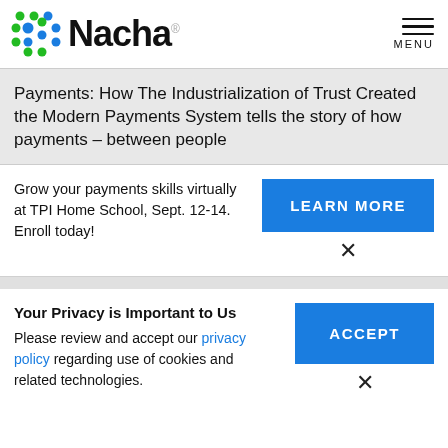[Figure (logo): Nacha logo with colorful dot grid on the left and 'Nacha' wordmark in bold black]
Payments: How The Industrialization of Trust Created the Modern Payments System tells the story of how payments – between people
Grow your payments skills virtually at TPI Home School, Sept. 12-14. Enroll today!
LEARN MORE
×
Your Privacy is Important to Us
Please review and accept our privacy policy regarding use of cookies and related technologies.
ACCEPT
×